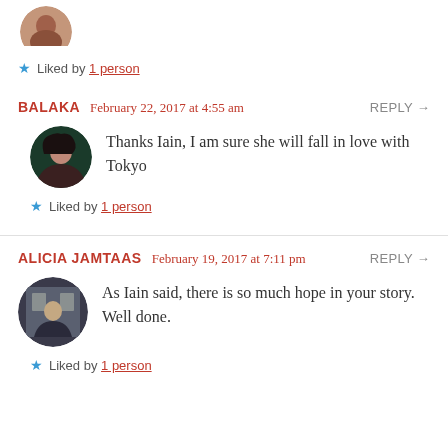[Figure (photo): Partial circular avatar at top of page, cropped]
Liked by 1 person
BALAKA   February 22, 2017 at 4:55 am   REPLY →
[Figure (photo): Circular avatar photo of a woman with dark hair]
Thanks Iain, I am sure she will fall in love with Tokyo
Liked by 1 person
ALICIA JAMTAAS   February 19, 2017 at 7:11 pm   REPLY →
[Figure (photo): Circular avatar photo of a person in front of a building]
As Iain said, there is so much hope in your story. Well done.
Liked by 1 person